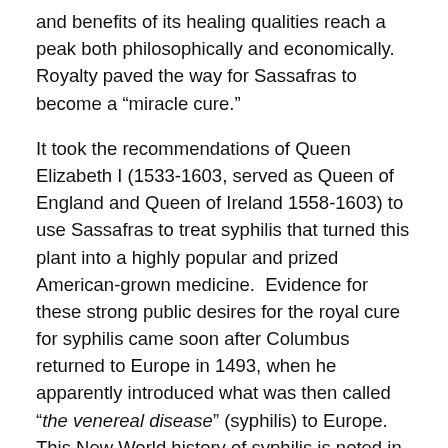and benefits of its healing qualities reach a peak both philosophically and economically.   Royalty paved the way for Sassafras to become a “miracle cure.”
It took the recommendations of Queen Elizabeth I (1533-1603, served as Queen of England and Queen of Ireland 1558-1603) to use Sassafras to treat syphilis that turned this plant into a highly popular and prized American-grown medicine.  Evidence for these strong public desires for the royal cure for syphilis came soon after Columbus returned to Europe in 1493, when he apparently introduced what was then called “the venereal disease” (syphilis) to Europe.   This New World history of syphilis is noted in the writings of Thomas Sydenham, in a letter dayed approximately 1680, and later published as a part of his works edited by John Swan, MD. (The Entire Works of Dr. Thomas Sydenham . . . . London: Printed for E. Cave, at